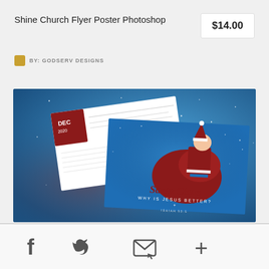Shine Church Flyer Poster Photoshop
$14.00
BY: GODSERV DESIGNS
[Figure (photo): Preview of a Christmas church flyer/poster design showing Santa Claus carrying a large red bag on a blue starry background. Text on flyer reads 'Santa Claus WHY IS JESUS BETTER? ISAIAH 53:5'. Two versions of the flyer shown at an angle.]
Social share icons: Facebook, Twitter, Email, Add